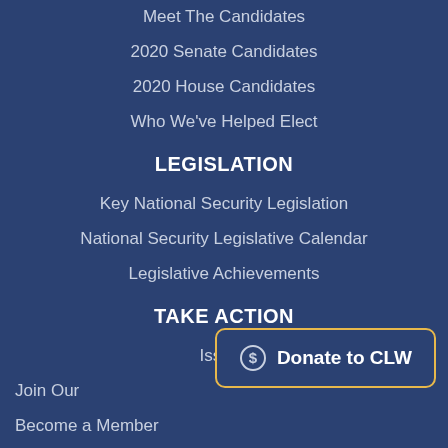Meet The Candidates
2020 Senate Candidates
2020 House Candidates
Who We've Helped Elect
LEGISLATION
Key National Security Legislation
National Security Legislative Calendar
Legislative Achievements
TAKE ACTION
Issues
Join Our
Become a Member
[Figure (other): Donate to CLW button with dollar sign icon, yellow border, dark blue background]
ABOUT